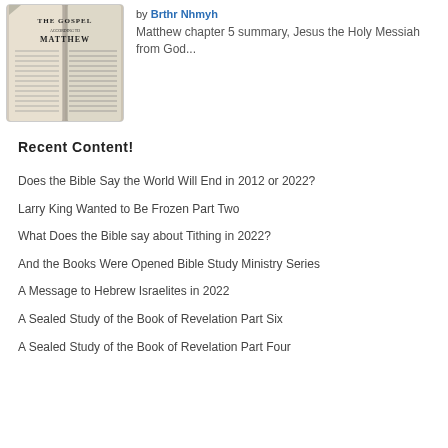[Figure (photo): Open Bible showing The Gospel According to Matthew text]
by Brthr Nhmyh
Matthew chapter 5 summary, Jesus the Holy Messiah from God...
Recent Content!
Does the Bible Say the World Will End in 2012 or 2022?
Larry King Wanted to Be Frozen Part Two
What Does the Bible say about Tithing in 2022?
And the Books Were Opened Bible Study Ministry Series
A Message to Hebrew Israelites in 2022
A Sealed Study of the Book of Revelation Part Six
A Sealed Study of the Book of Revelation Part Four